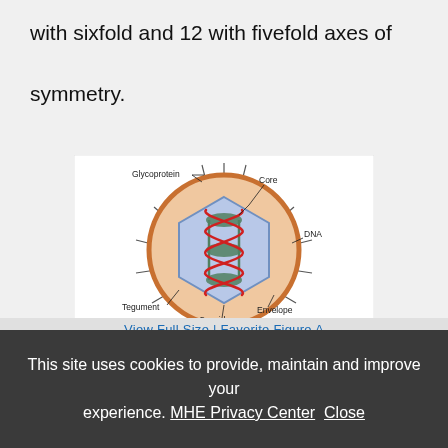with sixfold and 12 with fivefold axes of symmetry.
[Figure (illustration): Diagram of a herpesvirus structure showing labeled components: Glycoprotein (outer spikes), Core (center), DNA (double helix inside capsid), Tegument (layer between capsid and envelope), Capsid (icosahedral shell), and Envelope (outer membrane). Source: J.L. Jameson, A.S. Fauci, D.L. Kasper, S.L. Hauser, D.L. Longo, J. Loscalzo: Harrison's Principles of Internal Medicine, 20th Edition. Copyright McGraw-Hill Education.]
This site uses cookies to provide, maintain and improve your experience. MHE Privacy Center  Close